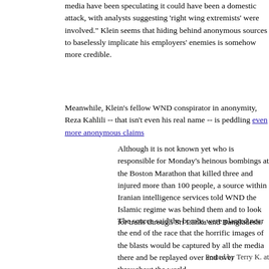media have been speculating it could have been a domestic attack, with analysts suggesting 'right wing extremists' were involved." Klein seems that hiding behind anonymous sources to baselessly implicate his employers' enemies is somehow more credible.
Meanwhile, Klein's fellow WND conspirator in anonymity, Reza Kahlili -- that isn't even his real name -- is peddling even more anonymous claims
Although it is not known yet who is responsible for Monday's heinous bombings at the Boston Marathon that killed three and injured more than 100 people, a source within Iranian intelligence services told WND the Islamic regime was behind them and to look for trails through Sri Lanka and Bangladesh.
The source said the bombs were planted near the end of the race that the horrific images of the blasts would be captured by all the media there and be replayed over and over throughout the world.
It seems that WND wants us to trust reporters with a history of biased journalism -- one of whom is hiding behind a fake name -- who can't come up with an on-the-record source to back up their claims over genuine media sources who are looking at all aspects of the case. No wonder nobody believes WND.
Posted by Terry K. at ...